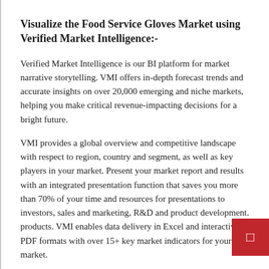Visualize the Food Service Gloves Market using Verified Market Intelligence:-
Verified Market Intelligence is our BI platform for market narrative storytelling. VMI offers in-depth forecast trends and accurate insights on over 20,000 emerging and niche markets, helping you make critical revenue-impacting decisions for a bright future.
VMI provides a global overview and competitive landscape with respect to region, country and segment, as well as key players in your market. Present your market report and results with an integrated presentation function that saves you more than 70% of your time and resources for presentations to investors, sales and marketing, R&D and product development. products. VMI enables data delivery in Excel and interactive PDF formats with over 15+ key market indicators for your market.